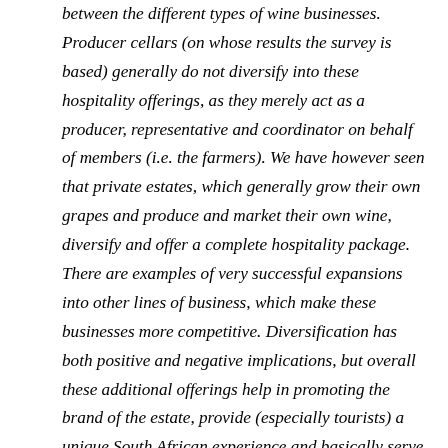between the different types of wine businesses. Producer cellars (on whose results the survey is based) generally do not diversify into these hospitality offerings, as they merely act as a producer, representative and coordinator on behalf of members (i.e. the farmers). We have however seen that private estates, which generally grow their own grapes and produce and market their own wine, diversify and offer a complete hospitality package. There are examples of very successful expansions into other lines of business, which make these businesses more competitive. Diversification has both positive and negative implications, but overall these additional offerings help in promoting the brand of the estate, provide (especially tourists) a unique South African experience and basically serve as a one-